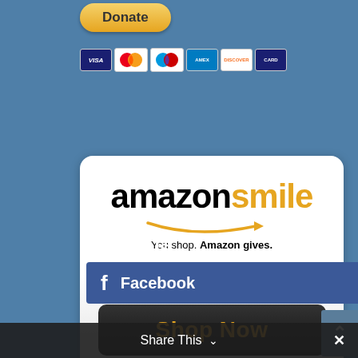[Figure (other): Yellow PayPal Donate button with rounded corners]
[Figure (other): Payment card icons strip showing Visa, Mastercard, Maestro, American Express, Discover, and another card]
[Figure (other): Amazon Smile promotional card with white/grey gradient background, showing amazonsmile logo with orange arrow, tagline 'You shop. Amazon gives.' and a black Shop Now button with orange text]
Follow Us
[Figure (other): Facebook social media button bar in blue with Facebook logo and text]
Share This ∨
✕